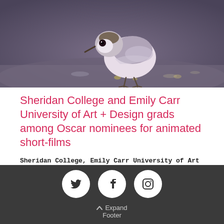[Figure (photo): Animated CGI bird (sandpiper) walking on wet sand/beach surface, from Pixar short film Piper]
Sheridan College and Emily Carr University of Art + Design grads among Oscar nominees for animated short-films
Sheridan College, Emily Carr University of Art + Design
from Newscaf: "Canada is a leader in animation, pumping out
Expand Footer